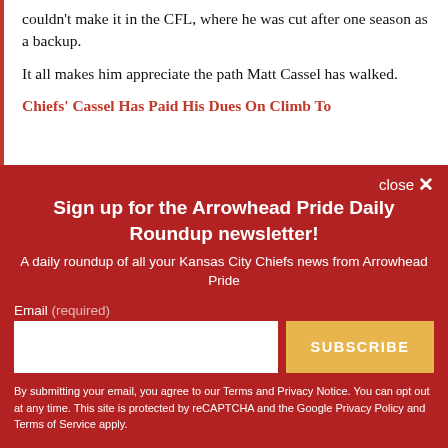couldn't make it in the CFL, where he was cut after one season as a backup.
It all makes him appreciate the path Matt Cassel has walked.
Chiefs' Cassel Has Paid His Dues On Climb To
Sign up for the Arrowhead Pride Daily Roundup newsletter!
A daily roundup of all your Kansas City Chiefs news from Arrowhead Pride
Email (required)
SUBSCRIBE
By submitting your email, you agree to our Terms and Privacy Notice. You can opt out at any time. This site is protected by reCAPTCHA and the Google Privacy Policy and Terms of Service apply.